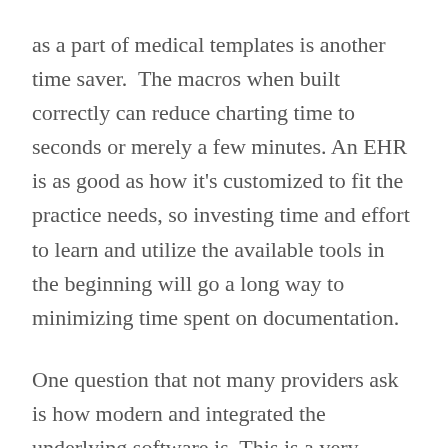as a part of medical templates is another time saver.  The macros when built correctly can reduce charting time to seconds or merely a few minutes. An EHR is as good as how it's customized to fit the practice needs, so investing time and effort to learn and utilize the available tools in the beginning will go a long way to minimizing time spent on documentation.
One question that not many providers ask is how modern and integrated the underlying software is. This is a very important question to ask for two reasons.  One, systems built on old legacy software programs don't talk to each other that